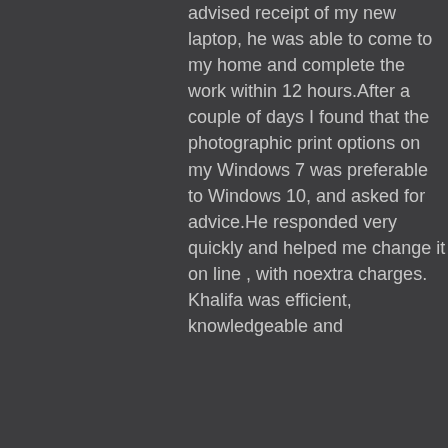advised receipt of my new laptop, he was able to come to my home and complete the work within 12 hours.After a couple of days I found that the photographic print options on my Windows 7 was preferable to Windows 10, and asked for advice.He responded very quickly and helped me change it on line , with noextra charges. Khalifa was efficient, knowledgeable and